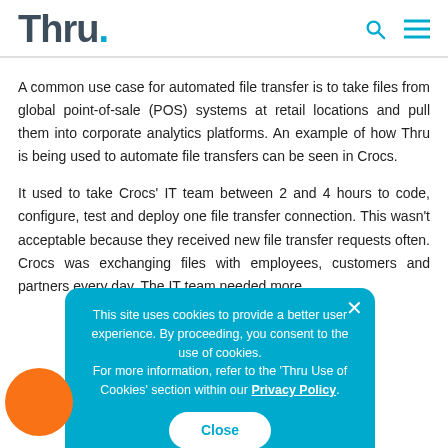Thru.
A common use case for automated file transfer is to take files from global point-of-sale (POS) systems at retail locations and pull them into corporate analytics platforms. An example of how Thru is being used to automate file transfers can be seen in Crocs.
It used to take Crocs' IT team between 2 and 4 hours to code, configure, test and deploy one file transfer connection. This wasn't acceptable because they received new file transfer requests often. Crocs was exchanging files with employees, customers and partners every day. The IT team needed more...
This site uses cookies to provide a better user experience. By proceeding, you consent to the use of cookies. For more information, refer to the 'Thru Use of Cookies' section within our Privacy Policy.